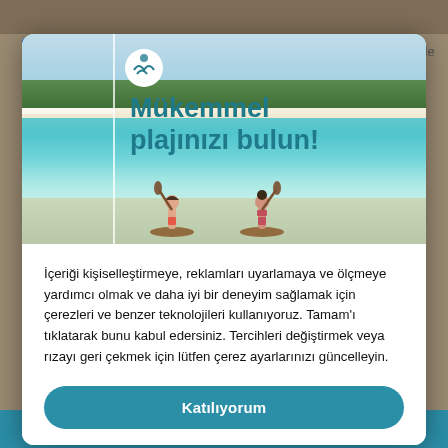[Figure (screenshot): A modal popup overlay on a travel/beach website. The top portion shows a beach advertisement with turquoise water, white sand, palm trees, a circular logo icon, and large teal text reading 'Mükemmel plajınızı bulun!' (Find your perfect beach!). Below is a cookie consent dialog in Turkish with an accept button.]
İçeriği kişiselleştirmeye, reklamları uyarlamaya ve ölçmeye yardımcı olmak ve daha iyi bir deneyim sağlamak için çerezleri ve benzer teknolojileri kullanıyoruz. Tamam'ı tıklatarak bunu kabul edersiniz. Tercihleri değiştirmek veya rızayı geri çekmek için lütfen çerez ayarlarınızı güncelleyin.
Katılıyorum